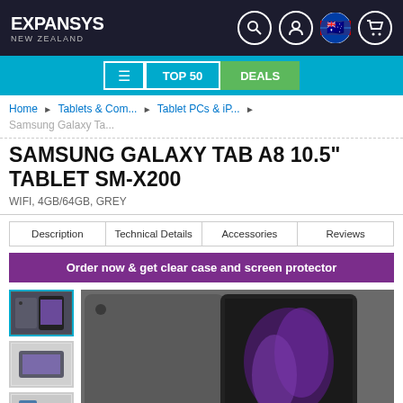EXPANSYS NEW ZEALAND
≡  TOP 50  DEALS
Home ▶ Tablets & Com... ▶ Tablet PCs & iP... ▶
Samsung Galaxy Ta...
SAMSUNG GALAXY TAB A8 10.5" TABLET SM-X200
WIFI, 4GB/64GB, GREY
Description  Technical Details  Accessories  Reviews
Order now & get clear case and screen protector
[Figure (photo): Samsung Galaxy Tab A8 thumbnails and main product image showing front and back of grey tablet]